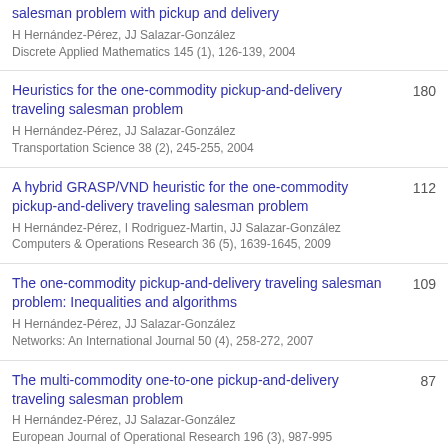salesman problem with pickup and delivery
H Hernández-Pérez, JJ Salazar-González
Discrete Applied Mathematics 145 (1), 126-139, 2004
Heuristics for the one-commodity pickup-and-delivery traveling salesman problem | 180
H Hernández-Pérez, JJ Salazar-González
Transportation Science 38 (2), 245-255, 2004
A hybrid GRASP/VND heuristic for the one-commodity pickup-and-delivery traveling salesman problem | 112
H Hernández-Pérez, I Rodriguez-Martin, JJ Salazar-González
Computers & Operations Research 36 (5), 1639-1645, 2009
The one-commodity pickup-and-delivery traveling salesman problem: Inequalities and algorithms | 109
H Hernández-Pérez, JJ Salazar-González
Networks: An International Journal 50 (4), 258-272, 2007
The multi-commodity one-to-one pickup-and-delivery traveling salesman problem | 87
H Hernández-Pérez, JJ Salazar-González
European Journal of Operational Research 196 (3), 987-995